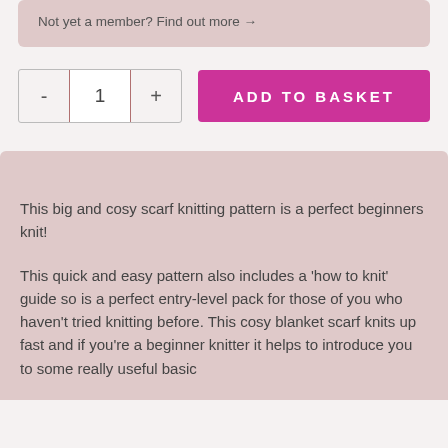Not yet a member? Find out more →
[Figure (other): Quantity selector with minus and plus buttons showing value 1, and an ADD TO BASKET button in pink/magenta]
This big and cosy scarf knitting pattern is a perfect beginners knit!
This quick and easy pattern also includes a 'how to knit' guide so is a perfect entry-level pack for those of you who haven't tried knitting before. This cosy blanket scarf knits up fast and if you're a beginner knitter it helps to introduce you to some really useful basic